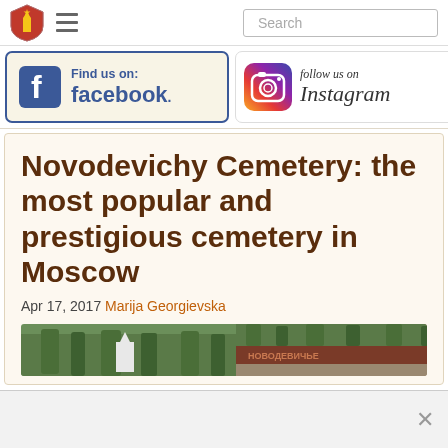Navigation bar with logo, hamburger menu, and search box
[Figure (screenshot): Facebook 'Find us on: facebook.' social media button with blue border on cream background]
[Figure (screenshot): Instagram 'follow us on Instagram' social media button with Instagram camera icon]
Novodevichy Cemetery: the most popular and prestigious cemetery in Moscow
Apr 17, 2017 Marija Georgievska
[Figure (photo): Two photos of Novodevichy Cemetery showing green trees, monuments and a stone wall with Cyrillic inscription]